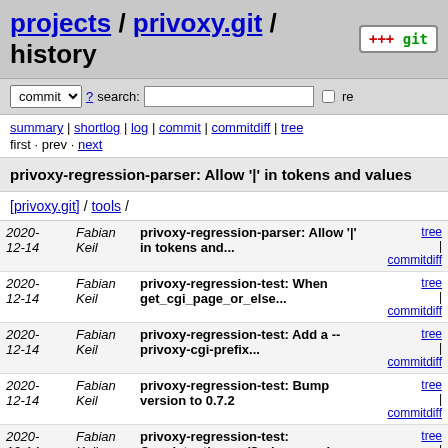projects / privoxy.git / history
commit ? search: re
summary | shortlog | log | commit | commitdiff | tree
first · prev · next
privoxy-regression-parser: Allow '|' in tokens and values
[privoxy.git] / tools /
| Date | Author | Message | Links |
| --- | --- | --- | --- |
| 2020-12-14 | Fabian Keil | privoxy-regression-parser: Allow '|' in tokens and... | tree | commitdiff |
| 2020-12-14 | Fabian Keil | privoxy-regression-test: When get_cgi_page_or_else... | tree | commitdiff |
| 2020-12-14 | Fabian Keil | privoxy-regression-test: Add a --privoxy-cgi-prefix... | tree | commitdiff |
| 2020-12-14 | Fabian Keil | privoxy-regression-test: Bump version to 0.7.2 | tree | commitdiff |
| 2020-12-14 | Fabian Keil | privoxy-regression-test: Consistently use '$privoxy_cgi... | tree | commitdiff |
| 2020-12-11 | Fabian Keil | uagen: Update example output | tree | commitdiff |
| 2020-12-11 | Fabian Keil | uagen: Bump copyright | tree | commitdiff |
| 2020-12-11 | Fabian Keil | uagen: Recommend the use of the https-inspection-action... | tree | commitdiff |